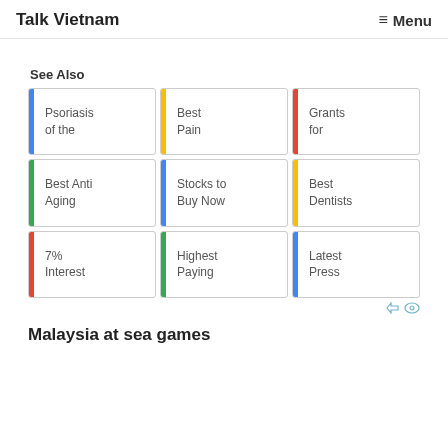Talk Vietnam  ≡ Menu
See Also
[Figure (infographic): 3x3 grid of ad cards: Row 1: blue-bordered 'Psoriasis of the', yellow-bordered 'Best Pain', red-bordered 'Grants for'. Row 2: green-bordered 'Best Anti Aging', blue-bordered 'Stocks to Buy Now', yellow-bordered 'Best Dentists'. Row 3: red-bordered '7% Interest', green-bordered 'Highest Paying', blue-bordered 'Latest Press'.]
Malaysia at sea games